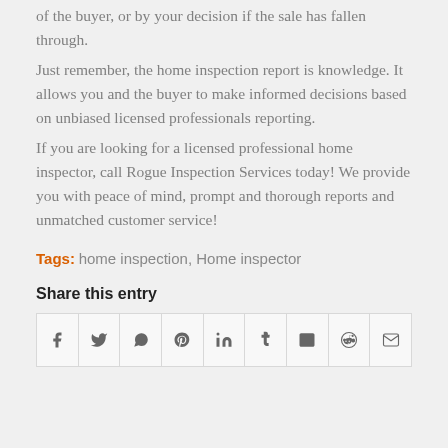of the buyer, or by your decision if the sale has fallen through.
Just remember, the home inspection report is knowledge. It allows you and the buyer to make informed decisions based on unbiased licensed professionals reporting.
If you are looking for a licensed professional home inspector, call Rogue Inspection Services today! We provide you with peace of mind, prompt and thorough reports and unmatched customer service!
Tags: home inspection, Home inspector
Share this entry
[Figure (other): Row of social media share icons: Facebook, Twitter, WhatsApp, Pinterest, LinkedIn, Tumblr, VK, Reddit, Email]